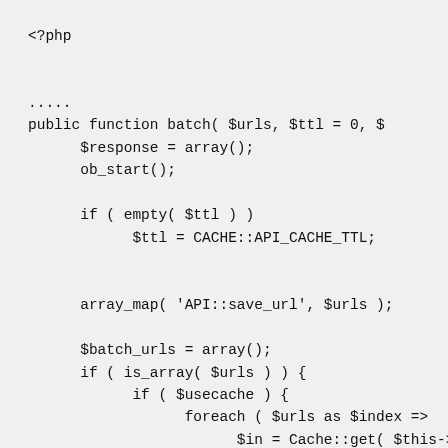<?php

.....
public function batch( $urls, $ttl = 0, $
      $response = array();
      ob_start();

      if ( empty( $ttl ) )
            $ttl = CACHE::API_CACHE_TTL;


      array_map( 'API::save_url', $urls );

      $batch_urls = array();
      if ( is_array( $urls ) ) {
            if ( $usecache ) {
                  foreach ( $urls as $index =>
                        $in = Cache::get( $this->

                        if ( $in ) {
                              $response[$index] = $
                        } else {
                              $batch_urls[$index] =
                        }
            }